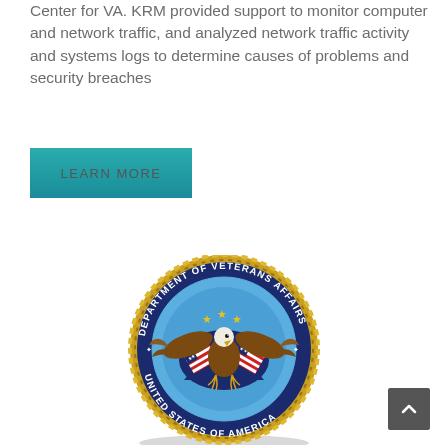Center for VA. KRM provided support to monitor computer and network traffic, and analyzed network traffic activity and systems logs to determine causes of problems and security breaches
LEARN MORE
[Figure (logo): Department of Veterans Affairs seal — circular seal with gold rope border, dark navy outer ring with text 'DEPARTMENT OF VETERANS AFFAIRS' and 'UNITED STATES OF AMERICA', light blue inner circle with a brown bald eagle with wings spread holding crossed American flags, and gold stars above the eagle.]